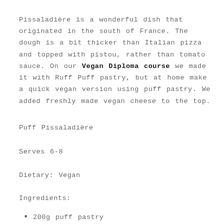Pissaladière is a wonderful dish that originated in the south of France. The dough is a bit thicker than Italian pizza and topped with pistou, rather than tomato sauce. On our Vegan Diploma course we made it with Ruff Puff pastry, but at home make a quick vegan version using puff pastry. We added freshly made vegan cheese to the top.
Puff Pissaladière
Serves 6-8
Dietary: Vegan
Ingredients:
200g puff pastry